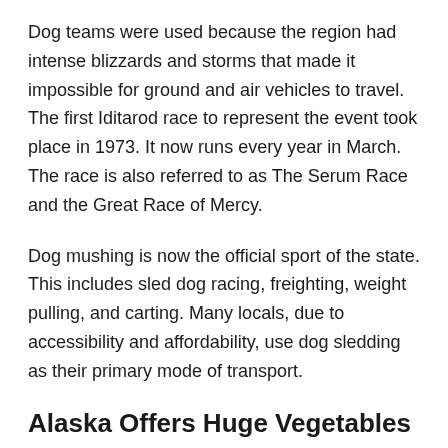Dog teams were used because the region had intense blizzards and storms that made it impossible for ground and air vehicles to travel. The first Iditarod race to represent the event took place in 1973. It now runs every year in March. The race is also referred to as The Serum Race and the Great Race of Mercy.
Dog mushing is now the official sport of the state. This includes sled dog racing, freighting, weight pulling, and carting. Many locals, due to accessibility and affordability, use dog sledding as their primary mode of transport.
Alaska Offers Huge Vegetables